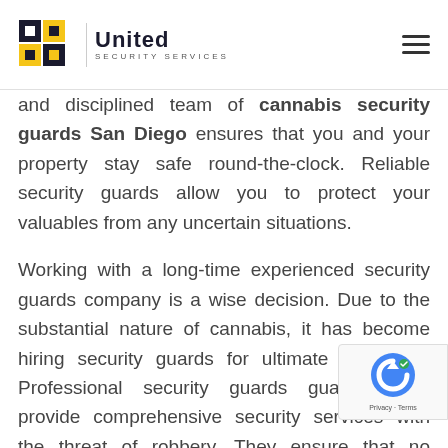United Security Services
and disciplined team of cannabis security guards San Diego ensures that you and your property stay round-the-clock. Reliable security guards allow you to protect your valuables from any uncertain situations.

Working with a long-time experienced security guards company is a wise decision. Due to the substantial nature of cannabis, it has become hiring security guards for ultimate protection. Professional security guards guarantee to provide comprehensive security services with the threat of robbery. They ensure that no unauthorized person enters your property or harms cannabis. Using advanced tools and access devices ensures providing a unique and effective method